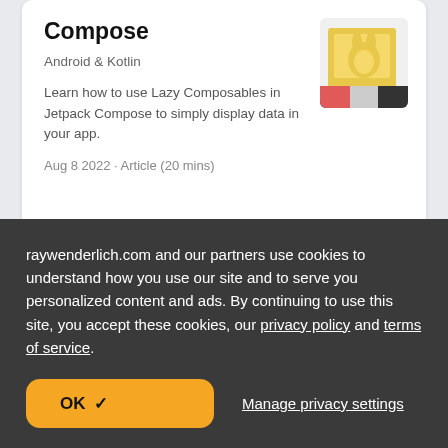Compose
Android & Kotlin
Learn how to use Lazy Composables in Jetpack Compose to simply display data in your app.
Aug 8 2022 · Article (20 mins)
[Figure (illustration): Thumbnail illustration for Jetpack Compose article with rabbit-like figure on yellow background and dark footer strip.]
Write a Symbol Processor
[Figure (illustration): Thumbnail illustration for Write a Symbol Processor article with green and purple overlapping rectangles and a NEW badge in purple.]
raywenderlich.com and our partners use cookies to understand how you use our site and to serve you personalized content and ads. By continuing to use this site, you accept these cookies, our privacy policy and terms of service.
OK ✓
Manage privacy settings